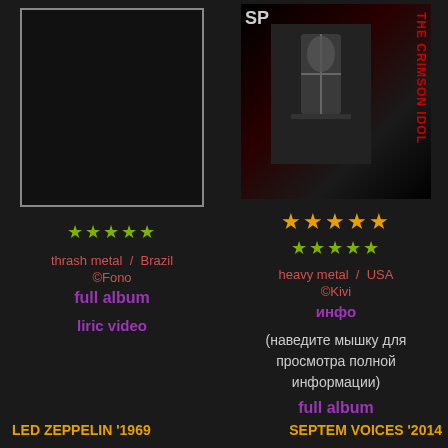[Figure (photo): Left album cover placeholder - dark/black rectangle with thin border]
★★★★★ (green stars)
thrash metal / Brazil
©Fono
full album
liric video
[Figure (photo): W.A.S.P. The Crimson Idol album cover - black and white with red text]
★★★★★ (orange stars)
★★★★★ (green stars)
heavy metal / USA
©Kivi
инфо
(наведите мышку для просмотра полной информации)
full album
LED ZEPPELIN '1969
SEPTEM VOICES '2014